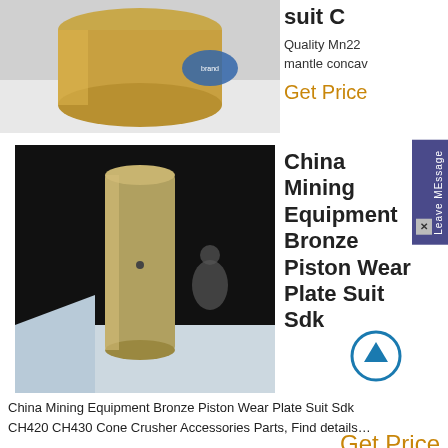[Figure (photo): Gold/bronze cylindrical bushing part on white background with blue label sticker]
suit C
Quality Mn22 mantle concav
Get Price
[Figure (photo): Silver/bronze cylindrical piston wear plate part standing upright in dark industrial setting with person in background]
China Mining Equipment Bronze Piston Wear Plate Suit Sdk
China Mining Equipment Bronze Piston Wear Plate Suit Sdk CH420 CH430 Cone Crusher Accessories Parts, Find details...
Get Price